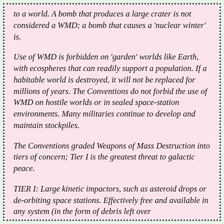to a world. A bomb that produces a large crater is not considered a WMD; a bomb that causes a 'nuclear winter' is.
Use of WMD is forbidden on 'garden' worlds like Earth, with ecospheres that can readily support a population. If a habitable world is destroyed, it will not be replaced for millions of years. The Conventions do not forbid the use of WMD on hostile worlds or in sealed space-station environments. Many militaries continue to develop and maintain stockpiles.
The Conventions graded Weapons of Mass Destruction into tiers of concern; Tier I is the greatest threat to galactic peace.
TIER I: Large kinetic impactors, such as asteroid drops or de-orbiting space stations. Effectively free and available in any system (in the form of debris left over